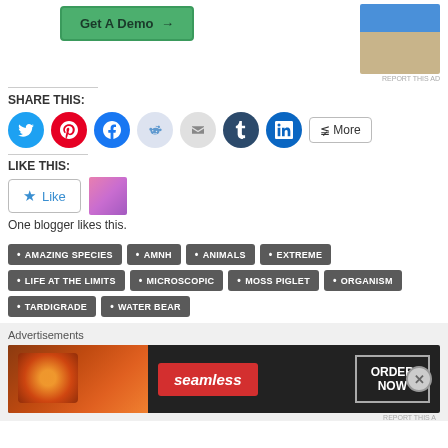[Figure (screenshot): Get A Demo button with green background and arrow, and an advertisement photo showing a person]
REPORT THIS AD
SHARE THIS:
[Figure (infographic): Social sharing icons: Twitter, Pinterest, Facebook, Reddit, Email, Tumblr, LinkedIn, and More button]
LIKE THIS:
[Figure (screenshot): WordPress Like button with star icon and blogger thumbnail photo]
One blogger likes this.
AMAZING SPECIES
AMNH
ANIMALS
EXTREME
LIFE AT THE LIMITS
MICROSCOPIC
MOSS PIGLET
ORGANISM
TARDIGRADE
WATER BEAR
Advertisements
[Figure (screenshot): Seamless food delivery advertisement with pizza image, seamless logo, and ORDER NOW button]